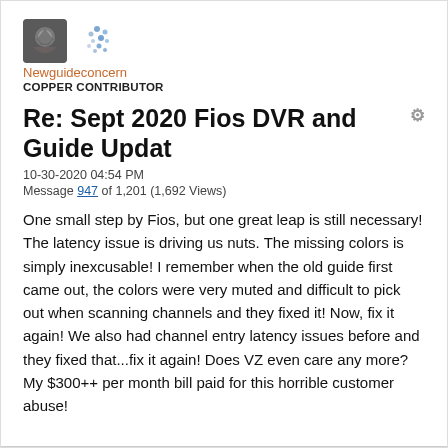[Figure (illustration): User avatar: dark stone/cube icon and a cluster of blue dots icon side by side]
Newguideconcern
COPPER CONTRIBUTOR
Re: Sept 2020 Fios DVR and Guide Update
10-30-2020 04:54 PM
Message 947 of 1,201 (1,692 Views)
One small step by Fios, but one great leap is still necessary! The latency issue is driving us nuts. The missing colors is simply inexcusable! I remember when the old guide first came out, the colors were very muted and difficult to pick out when scanning channels and they fixed it! Now, fix it again! We also had channel entry latency issues before and they fixed that...fix it again! Does VZ even care any more? My $300++ per month bill paid for this horrible customer abuse!